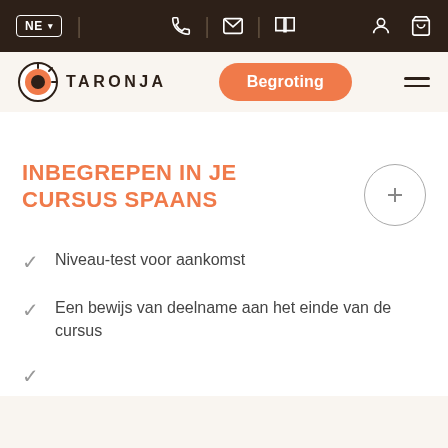NE | [phone] | [mail] | [book] | [user] | [cart]
[Figure (logo): Taronja language school logo with sun/circle icon and text TARONJA]
Begroting
INBEGREPEN IN JE CURSUS SPAANS
Niveau-test voor aankomst
Een bewijs van deelname aan het einde van de cursus